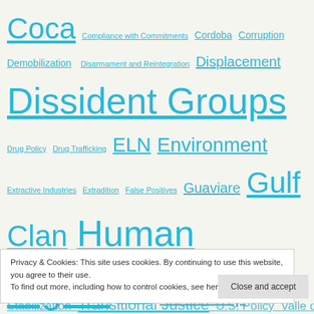Coca Compliance with Commitments Cordoba Corruption Demobilization Disarmament and Reintegration Displacement Dissident Groups Drug Policy Drug Trafficking ELN Environment Extractive Industries Extradition False Positives Guaviare Gulf Clan Human Rights Illegal Mining Illicit Crop Eradication Indigenous Communities JEP Justice System Land Tenure Magdalena Mass Graves Meta Military and Human Rights Montes de Maria Narino Organized Crime Paramilitarism ... Politics of Peace Press ... Stabilization Transitional Justice U.S. Policy Valle del Cauca
Privacy & Cookies: This site uses cookies. By continuing to use this website, you agree to their use. To find out more, including how to control cookies, see here: Cookie Policy
Close and accept